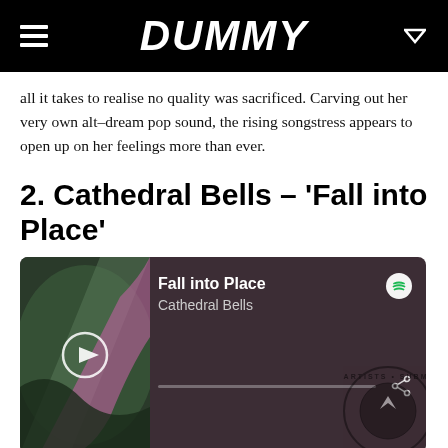DUMMY
all it takes to realise no quality was sacrificed. Carving out her very own alt–dream pop sound, the rising songstress appears to open up on her feelings more than ever.
2. Cathedral Bells – ‘Fall into Place’
[Figure (screenshot): Spotify embedded player showing 'Fall into Place' by Cathedral Bells with album art, play button, progress bar, Spotify logo, and share icon]
Formed in late 2018 by Matt Messore, Cathedral Bells is a